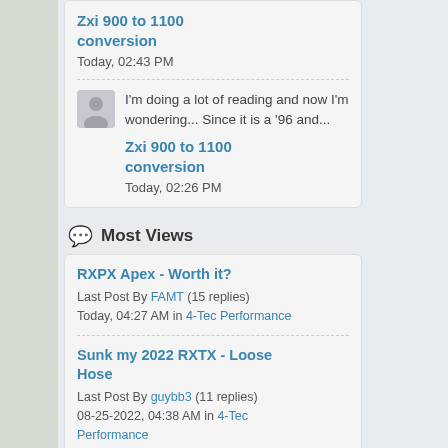Zxi 900 to 1100 conversion (Today, 02:43 PM)
I'm doing a lot of reading and now I'm wondering... Since it is a '96 and...
Zxi 900 to 1100 conversion (Today, 02:26 PM)
Most Views
RXPX Apex - Worth it? Last Post By FAMT (15 replies) Today, 04:27 AM in 4-Tec Performance
Sunk my 2022 RXTX - Loose Hose Last Post By guybb3 (11 replies) 08-25-2022, 04:38 AM in 4-Tec Performance
Intercooler leak test Last Post By Green Hulk (19 replies) 08-29-2022, 09:29 AM in 4-Tec Performance